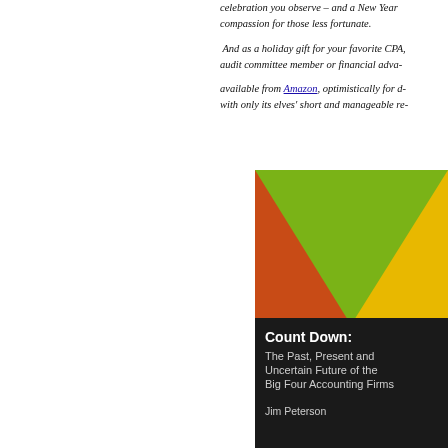celebration you observe – and a New Year of compassion for those less fortunate. And as a holiday gift for your favorite CPA, audit committee member or financial advi... available from Amazon, optimistically for d... with only its elves' short and manageable re-
[Figure (illustration): Book cover for 'Count Down: The Past, Present and Uncertain Future of the Big Four Accounting Firms' by Jim Peterson. The cover features a geometric design with triangular sections in green, orange, yellow, and blue colors on a dark background, with the title and author name in a black text box.]